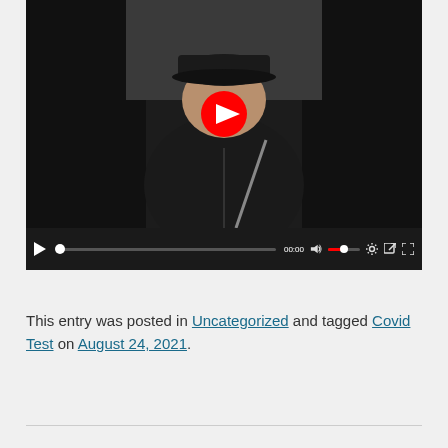[Figure (screenshot): Embedded video player showing a woman sitting in a car wearing a dark jacket and baseball cap. A red play button is centered on the video thumbnail. Below is a dark controls bar with play button, progress bar showing 00:00, volume control with red fill, settings icon, share icon, and fullscreen icon.]
This entry was posted in Uncategorized and tagged Covid Test on August 24, 2021.